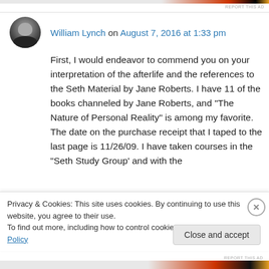REPORT THIS AD
William Lynch on August 7, 2016 at 1:33 pm
First, I would endeavor to commend you on your interpretation of the afterlife and the references to the Seth Material by Jane Roberts. I have 11 of the books channeled by Jane Roberts, and “The Nature of Personal Reality” is among my favorite. The date on the purchase receipt that I taped to the last page is 11/26/09. I have taken courses in the “Seth Study Group’ and with the
Privacy & Cookies: This site uses cookies. By continuing to use this website, you agree to their use.
To find out more, including how to control cookies, see here: Cookie Policy
Close and accept